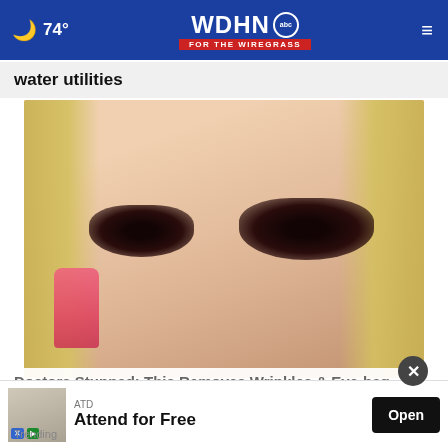🌙 74° | WDHN abc FOR THE WIREGRASS | ≡
water utilities
[Figure (photo): Close-up photo of a blonde woman applying dark coffee ground-like substance under her eyes as a beauty treatment, with pink manicured nails visible.]
Doctors Stunned: This Removes Wrinkles & Eye-bag
Trending
ATD
Attend for Free
Open